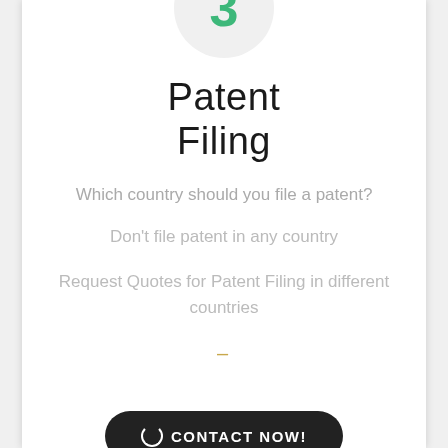[Figure (illustration): Circle icon with number 3 in green color on a light grey circular background, partially cropped at top]
Patent Filing
Which country should you file a patent?
Don't file patent in any country
Request Quotes for Patent Filing in different countries
–
CONTACT NOW!